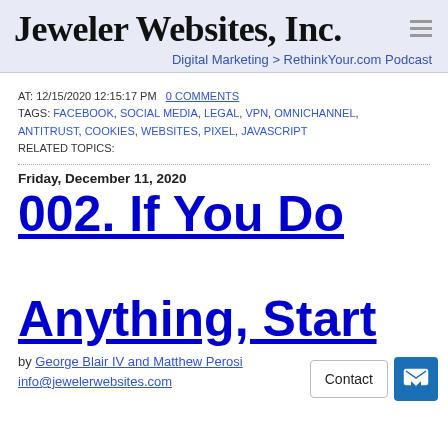Jeweler Websites, Inc.
Digital Marketing > RethinkYour.com Podcast
AT: 12/15/2020 12:15:17 PM  0 COMMENTS
TAGS: FACEBOOK, SOCIAL MEDIA, LEGAL, VPN, OMNICHANNEL, ANTITRUST, COOKIES, WEBSITES, PIXEL, JAVASCRIPT
RELATED TOPICS:
Friday, December 11, 2020
002. If You Do Anything, Start
by George Blair IV and Matthew Perosi
info@jewelerwebsites.com